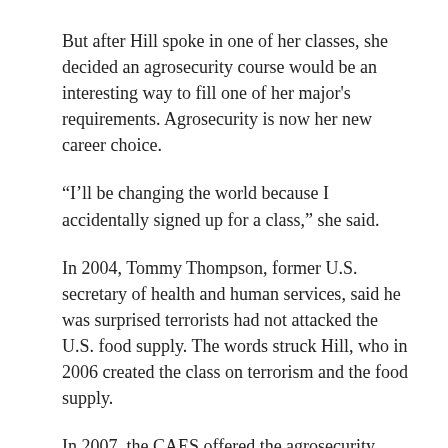But after Hill spoke in one of her classes, she decided an agrosecurity course would be an interesting way to fill one of her major's requirements. Agrosecurity is now her new career choice.
“I’ll be changing the world because I accidentally signed up for a class,” she said.
In 2004, Tommy Thompson, former U.S. secretary of health and human services, said he was surprised terrorists had not attacked the U.S. food supply. The words struck Hill, who in 2006 created the class on terrorism and the food supply.
In 2007, the CAES offered the agrosecurity certificate program.
This year, science-specific students can add three courses to their college majors, receive the certificate and get hands-on experience in how to handle agricultural incidents, assist in emergencies and help keep the U.S. food supply safe...